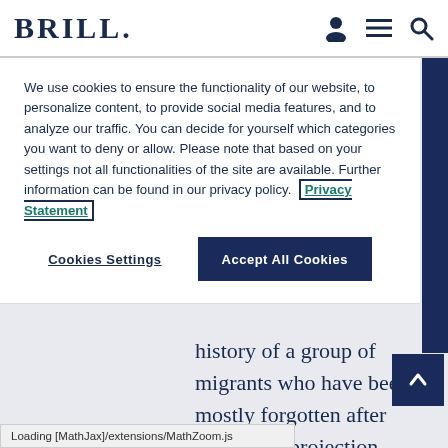BRILL
We use cookies to ensure the functionality of our website, to personalize content, to provide social media features, and to analyze our traffic. You can decide for yourself which categories you want to deny or allow. Please note that based on your settings not all functionalities of the site are available. Further information can be found in our privacy policy. Privacy Statement
Cookies Settings
Accept All Cookies
history of a group of migrants who have been mostly forgotten after serving as projection surfaces and transmission objects for racial knowledge about the ‘migrant Other’ and ‘the German’.
Loading [MathJax]/extensions/MathZoom.js